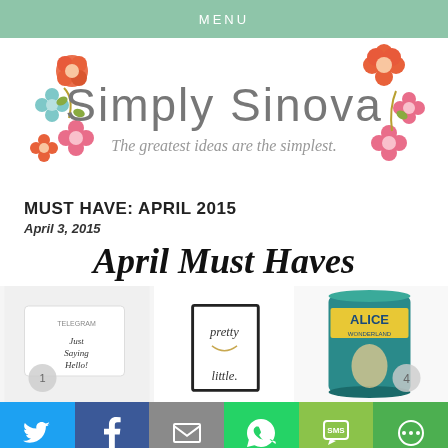MENU
[Figure (logo): Simply Sinova blog logo with decorative flowers and text 'Simply Sinova - The greatest ideas are the simplest']
MUST HAVE: APRIL 2015
April 3, 2015
April Must Haves
[Figure (photo): Three product images: a Telegram greeting card, a 'pretty little' jewelry display frame, and an Alice in Wonderland tin can]
[Figure (infographic): Social share buttons bar: Twitter, Facebook, Email, WhatsApp, SMS, More]